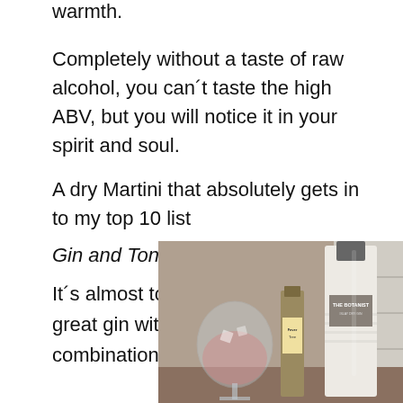warmth.
Completely without a taste of raw alcohol, you can´t taste the high ABV, but you will notice it in your spirit and soul.
A dry Martini that absolutely gets in to my top 10 list
Gin and Tonic
It´s almost too bad to mix such a great gin with tonic, but in combination with Fever Tree
[Figure (photo): Photo of The Botanist gin bottle next to a balloon wine glass with a pink drink and ice, alongside a small Fever Tree tonic bottle, set against white tile wall background]